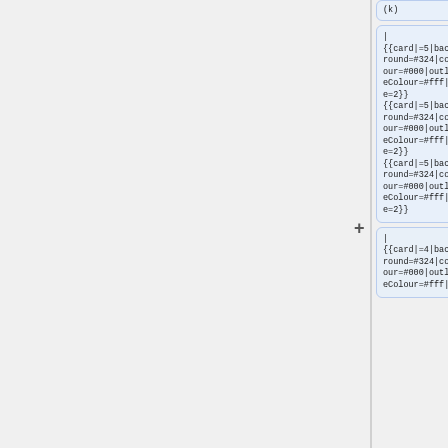(k)
| {{card|=5|background=#324|colour=#000|outlineColour=#fff|size=2}} {{card|=5|background=#324|colour=#000|outlineColour=#fff|size=2}} {{card|=5|background=#324|colour=#000|outlineColour=#fff|size=2}}
| {{card|=4|background=#324|colour=#000|outlineColour=#fff|siz